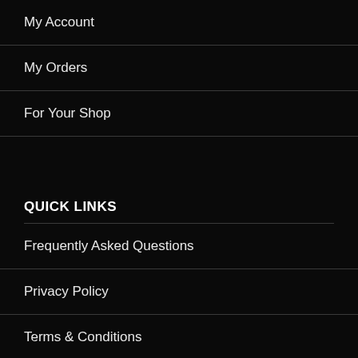My Account
My Orders
For Your Shop
QUICK LINKS
Frequently Asked Questions
Privacy Policy
Terms & Conditions
CONTACT US